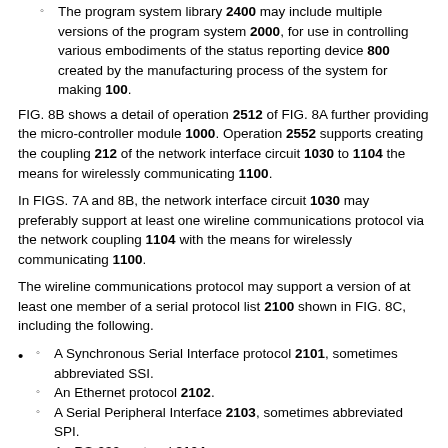The program system library 2400 may include multiple versions of the program system 2000, for use in controlling various embodiments of the status reporting device 800 created by the manufacturing process of the system for making 100.
FIG. 8B shows a detail of operation 2512 of FIG. 8A further providing the micro-controller module 1000. Operation 2552 supports creating the coupling 212 of the network interface circuit 1030 to 1104 the means for wirelessly communicating 1100.
In FIGS. 7A and 8B, the network interface circuit 1030 may preferably support at least one wireline communications protocol via the network coupling 1104 with the means for wirelessly communicating 1100.
The wireline communications protocol may support a version of at least one member of a serial protocol list 2100 shown in FIG. 8C, including the following.
A Synchronous Serial Interface protocol 2101, sometimes abbreviated SSI.
An Ethernet protocol 2102.
A Serial Peripheral Interface 2103, sometimes abbreviated SPI.
An RS-232 protocol 2104.
An Inter-IC protocol 2105, sometimes abbreviated I2C.